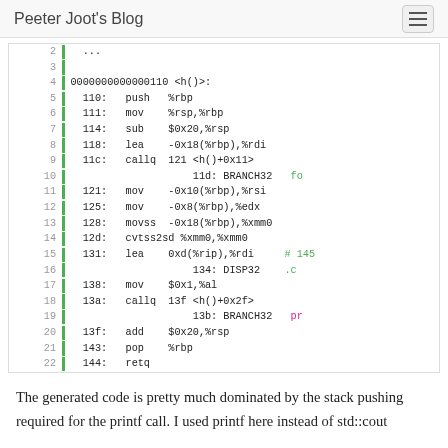Peeter Joot's Blog
[Figure (screenshot): Assembly code listing from a disassembly of function h(), showing lines 2-22 with instructions including push, mov, sub, lea, callq, movss, cvtss2sd, add, pop, retq, and relocation annotations BRANCH32 and DISP32.]
The generated code is pretty much dominated by the stack pushing required for the printf call. I used printf here instead of std::cout